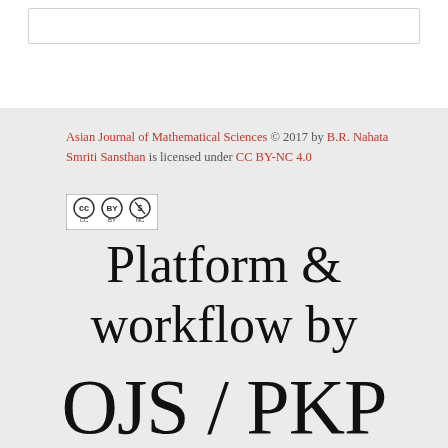[Figure (other): White box with light grey border at top of page]
Asian Journal of Mathematical Sciences © 2017 by B.R. Nahata Smriti Sansthan is licensed under CC BY-NC 4.0
[Figure (logo): Creative Commons CC BY-NC 4.0 badge with three circular icons]
Platform & workflow by OJS / PKP